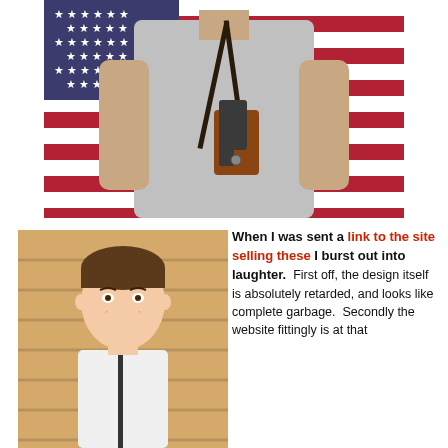[Figure (photo): A person in a gray t-shirt wearing a brown leather shoulder holster with a handgun, standing in front of an American flag backdrop. The person's head is cropped out of the frame.]
[Figure (photo): A young boy with a short haircut, smiling, wearing a white shirt with a dark strap visible, standing in front of a wooden siding background.]
When I was sent a link to the site selling these I burst out into laughter. First off, the design itself is absolutely retarded, and looks like complete garbage. Secondly the website fittingly is at that